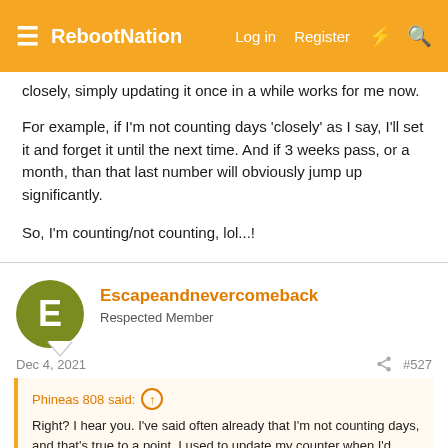RebootNation | Log in | Register
closely, simply updating it once in a while works for me now.
For example, if I'm not counting days 'closely' as I say, I'll set it and forget it until the next time. And if 3 weeks pass, or a month, than that last number will obviously jump up significantly.
So, I'm counting/not counting, lol...!
Escapeandnevercomeback
Respected Member
Dec 4, 2021
#527
Phineas 808 said:
Right? I hear you. I've said often already that I'm not counting days, and that's true to a point. I used to update my counter when I'd come on to post... But now I'm not tracking it that closely, simply updating it once in a while works for me now.